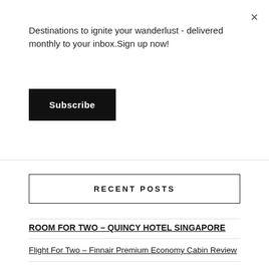×
Destinations to ignite your wanderlust - delivered monthly to your inbox.Sign up now!
Subscribe
RECENT POSTS
ROOM FOR TWO – QUINCY HOTEL SINGAPORE
Flight For Two – Finnair Premium Economy Cabin Review
Romancing Fiji – Lomani Island Resort, Pearl of the Pacific
Honeymoon Packages ~ Australia 2022
Thailand: THE destination for (affordable) dream honeymoons and weddings